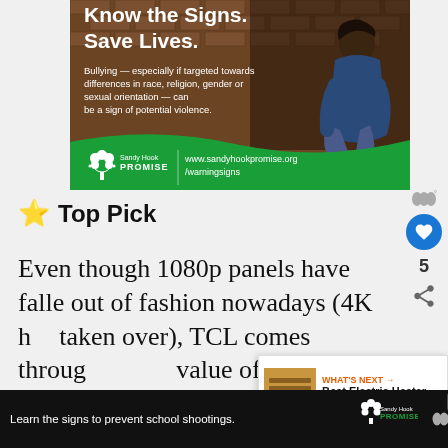[Figure (infographic): Sandy Hook Promise public service announcement ad. Background shows a person sitting against a brick wall in a hunched position. Bold white text reads 'Know the Signs. Save Lives.' Smaller text reads 'Bullying — especially if targeted towards differences in race, religion, gender or sexual orientation — can be a sign of potential violence.' Green bar at bottom shows Sandy Hook Promise logo and website www.sandyhookpromise.org/warningsigns]
⭐ Top Pick
Even though 1080p panels have fallen out of fashion nowadays (4K has taken over), TCL comes through with a value offering that you can get for a $[continues below]
[Figure (infographic): Sandy Hook Promise bottom banner advertisement. Dark background with text 'Learn the signs to prevent school shootings.' Sandy Hook Promise logo on right.]